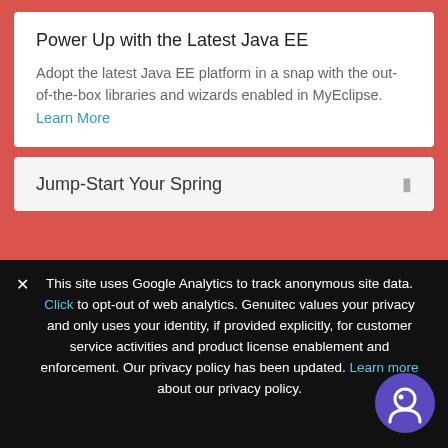Power Up with the Latest Java EE
Adopt the latest Java EE platform in a snap with the out-of-the-box libraries and wizards enabled in MyEclipse. Learn More
Jump-Start Your Spring
✕ This site uses Google Analytics to track anonymous site data. Click to opt-out of web analytics. Genuitec values your privacy and only uses your identity, if provided explicitly, for customer service activities and product license enablement and enforcement. Our privacy policy has been updated. Learn more about our privacy policy.